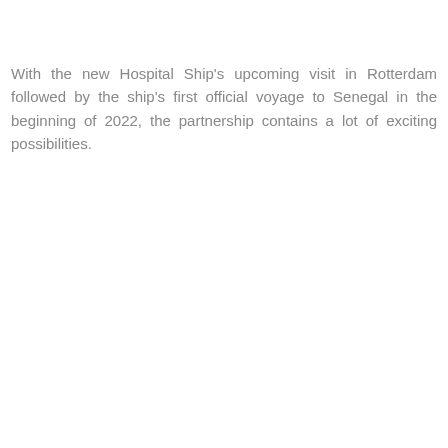With the new Hospital Ship's upcoming visit in Rotterdam followed by the ship's first official voyage to Senegal in the beginning of 2022, the partnership contains a lot of exciting possibilities.